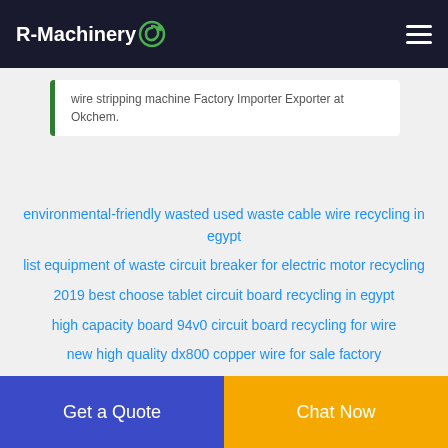R-Machinery
wire stripping machine Factory Importer Exporter at Okchem.
environmental-friendly wasted used waste cable wire recycling in egypt
list equipment of waste circuit breaker for electric motor recycling
2019 best choose tablet circuit board recycling in egypt
high capacity board 94v0 circuit board recycling for wire
new high quality dx800 copper wire for sale factory
high separation rate safe dx800 copper wire for coppe
small type copper waste plastic recycling plant from
Get a Quote | Chat Now